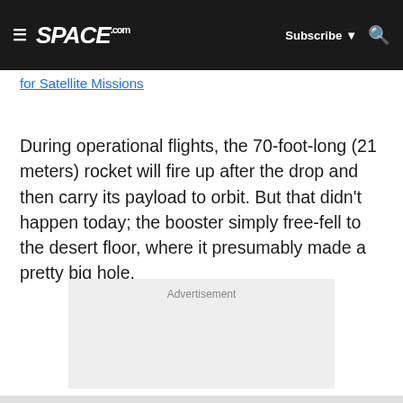SPACE.com | Subscribe | Search
for Satellite Missions
During operational flights, the 70-foot-long (21 meters) rocket will fire up after the drop and then carry its payload to orbit. But that didn't happen today; the booster simply free-fell to the desert floor, where it presumably made a pretty big hole.
[Figure (other): Advertisement placeholder box]